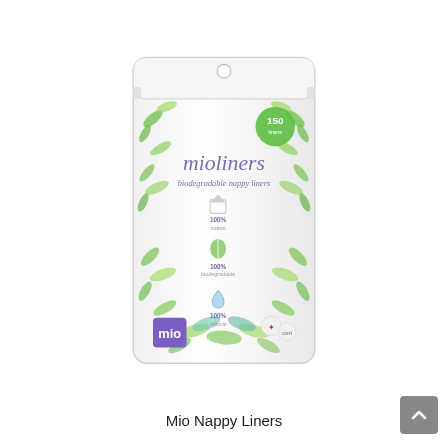[Figure (photo): Product photo of Mio mioliners biodegradable nappy liners — a white stand-up pouch bag decorated with green leaf illustrations. The bag shows the brand name 'mioliners' in purple script, subtitle 'biodegradable nappy liners', three icons (100% cotton, 100% biodegradable, 100% natural) with small text, a green circular badge showing '150 liners', and the mio brand logo in a purple square at the bottom left.]
Mio Nappy Liners